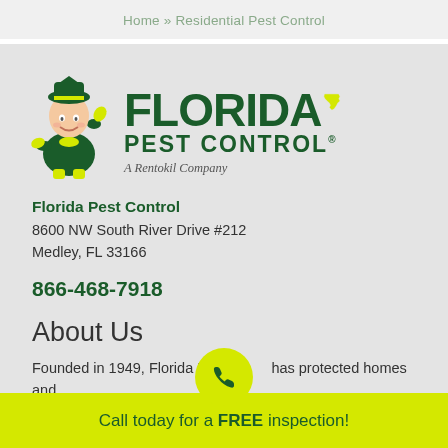Home » Residential Pest Control
[Figure (logo): Florida Pest Control logo with mascot cartoon character in green and yellow uniform, large FLORIDA text with state outline, PEST CONTROL text, and A Rentokil Company tagline]
Florida Pest Control
8600 NW South River Drive #212
Medley, FL 33166
866-468-7918
About Us
Founded in 1949, Florida Pest Control has protected homes and
Call today for a FREE inspection!